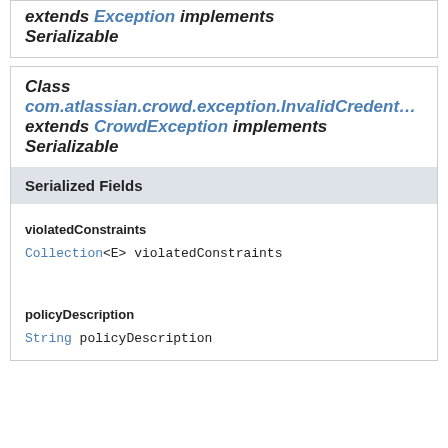extends Exception implements Serializable
Class com.atlassian.crowd.exception.InvalidCredent... extends CrowdException implements Serializable
Serialized Fields
violatedConstraints
Collection<E> violatedConstraints
policyDescription
String policyDescription